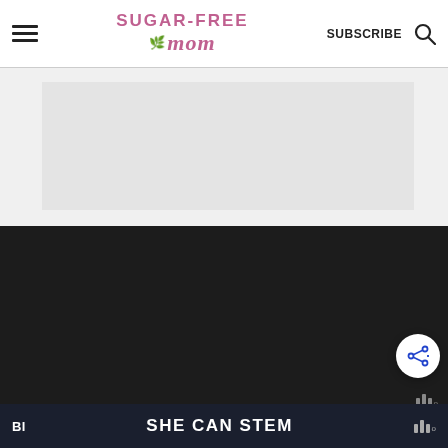Sugar-Free Mom | SUBSCRIBE
[Figure (screenshot): Advertisement placeholder area - light gray box]
[Figure (photo): Large dark area - food/recipe photo area]
I love fried foods just like the next girl,
SHE CAN STEM